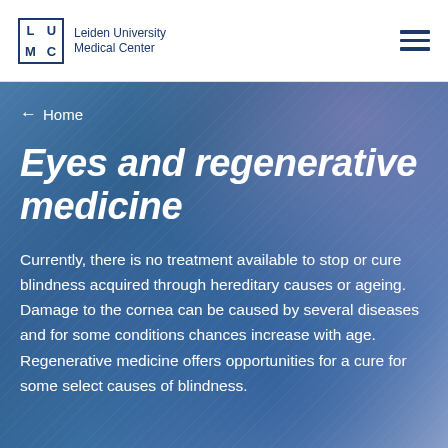Leiden University Medical Center
← Home
Eyes and regenerative medicine
Currently, there is no treatment available to stop or cure blindness acquired through hereditary causes or ageing. Damage to the cornea can be caused by several diseases and for some conditions chances increase with age. Regenerative medicine offers opportunities for a cure for some select causes of blindness.